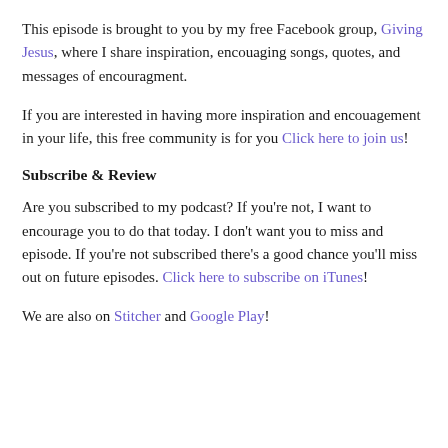This episode is brought to you by my free Facebook group, Giving Jesus, where I share inspiration, encouaging songs, quotes, and messages of encouragment.
If you are interested in having more inspiration and encouagement in your life, this free community is for you Click here to join us!
Subscribe & Review
Are you subscribed to my podcast? If you're not, I want to encourage you to do that today. I don't want you to miss and episode. If you're not subscribed there's a good chance you'll miss out on future episodes. Click here to subscribe on iTunes!
We are also on Stitcher and Google Play!